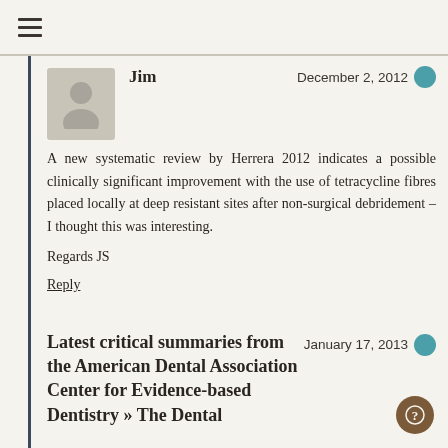☰ (navigation menu icon)
Jim
December 2, 2012
A new systematic review by Herrera 2012 indicates a possible clinically significant improvement with the use of tetracycline fibres placed locally at deep resistant sites after non-surgical debridement – I thought this was interesting.
Regards JS
Reply
Latest critical summaries from the American Dental Association Center for Evidence-based Dentistry » The Dental
January 17, 2013